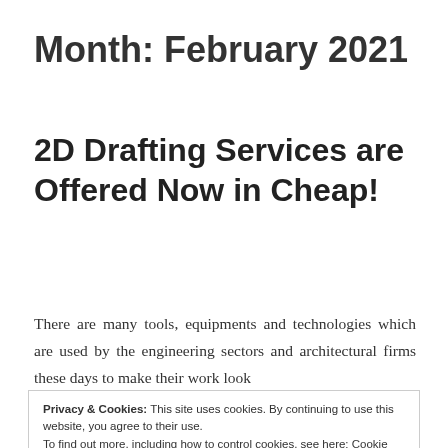Month: February 2021
2D Drafting Services are Offered Now in Cheap!
There are many tools, equipments and technologies which are used by the engineering sectors and architectural firms these days to make their work look
Privacy & Cookies: This site uses cookies. By continuing to use this website, you agree to their use.
To find out more, including how to control cookies, see here: Cookie Policy
Close and accept